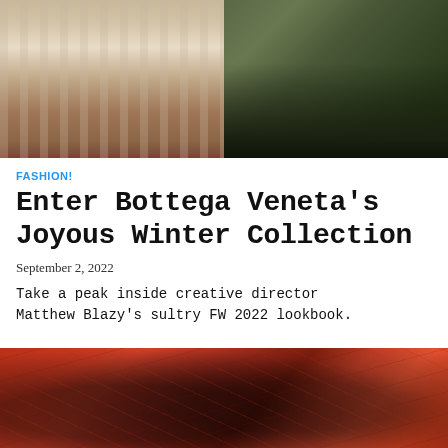[Figure (photo): Two fashion photos side by side: left shows legs in high heels on steps near white siding; right shows legs in black boots on outdoor ground.]
FASHION!
Enter Bottega Veneta's Joyous Winter Collection
September 2, 2022
Take a peak inside creative director Matthew Blazy's sultry FW 2022 lookbook.
[Figure (photo): Two people wearing large sunglasses and colorful headscarves against a red graffiti-covered wall.]